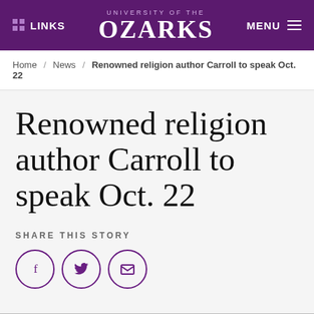LINKS | UNIVERSITY OF THE OZARKS | MENU
Home / News / Renowned religion author Carroll to speak Oct. 22
Renowned religion author Carroll to speak Oct. 22
SHARE THIS STORY
[Figure (illustration): Three circular social share buttons: Facebook (f), Twitter (bird icon), and Email (envelope icon), each outlined in purple.]